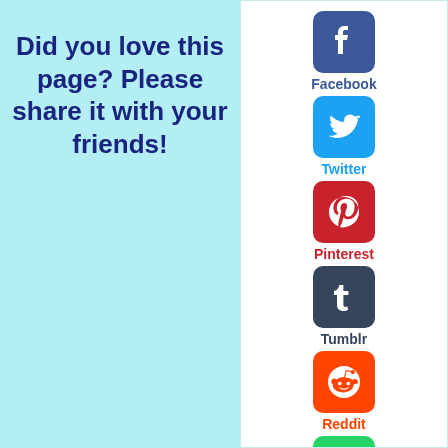Did you love this page? Please share it with your friends!
[Figure (infographic): Social media sharing icons: Facebook, Twitter, Pinterest, Tumblr, Reddit, WhatsApp]
Facebook
Twitter
Pinterest
Tumblr
Reddit
WhatsApp